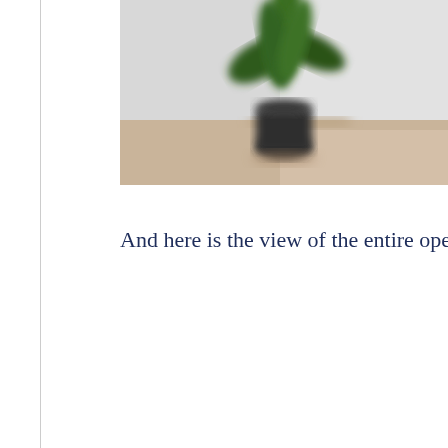[Figure (photo): A blurred interior photo showing a green tropical plant in a dark pot on a light wooden surface, with a white/grey wall in the background.]
And here is the view of the entire ope